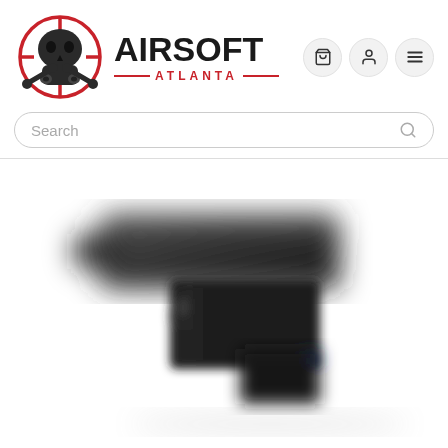[Figure (logo): Airsoft Atlanta logo: skull with gas mask inside a red crosshair/scope circle, with the text AIRSOFT in large black letters and ATLANTA in red below with red lines]
[Figure (photo): Blurred close-up photo of a black airsoft pistol handgun viewed from the front-left angle, showing the barrel and slide, on white background]
Search